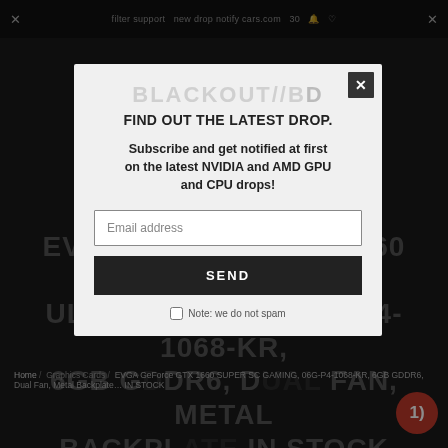× filter support new drop notify cars.com 30 ×
EVGA GEFORCE GTX 1660 SUPER SC ULTRA GAMING, 06G-P4-1068-KR, 6GB GDDR6, DUAL FAN, METAL BACKPLATE IN STOCK
FIND OUT THE LATEST DROP.
Subscribe and get notified at first on the latest NVIDIA and AMD GPU and CPU drops!
Email address
SEND
Note: we do not spam
Home / Graphics Cards / EVGA GeForce GTX 1660 SUPER SC GAMING, 06G-P4-1068-KR, 6GB GDDR6, Dual Fan, Metal Backplate IN STOCK